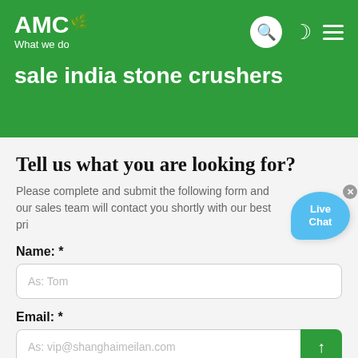What we do
AMC
sale india stone crushers
Tell us what you are looking for?
Please complete and submit the following form and our sales team will contact you shortly with our best price.
Name: *
As: Tom
Email: *
As: vip@shanghaimeilan.com
Phone: *
With Country Code
The Location of the Project: